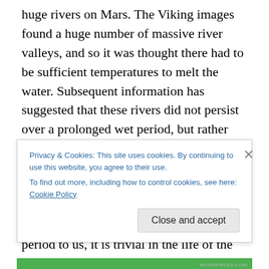huge rivers on Mars. The Viking images found a huge number of massive river valleys, and so it was thought there had to be sufficient temperatures to melt the water. Subsequent information has suggested that these rivers did not persist over a prolonged wet period, but rather there were intermittent periods where significant flows occurred.  Such rivers probably never flowed for more than a million years or so, and while a million years might seem to be an extremely long period to us, it is trivial in the life of the solar system. Nevertheless the rivers
Privacy & Cookies: This site uses cookies. By continuing to use this website, you agree to their use.
To find out more, including how to control cookies, see here: Cookie Policy